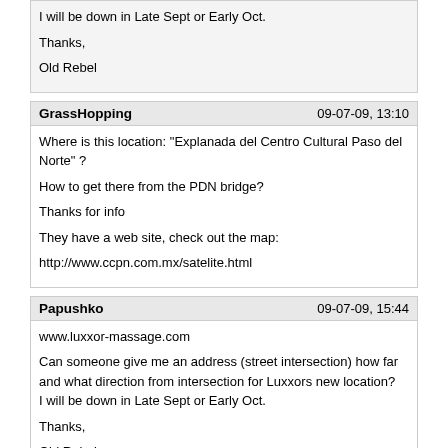I will be down in Late Sept or Early Oct.

Thanks,

Old Rebel
GrassHopping | 09-07-09, 13:10
Where is this location: "Explanada del Centro Cultural Paso del Norte" ?

How to get there from the PDN bridge?

Thanks for info

They have a web site, check out the map:

http://www.ccpn.com.mx/satelite.html
Papushko | 09-07-09, 15:44
www.luxxor-massage.com

Can someone give me an address (street intersection) how far and what direction from intersection for Luxxors new location?
I will be down in Late Sept or Early Oct.

Thanks,

Old Rebel
EnormusDick | 09-07-09, 16:58
Can someone give me an address (street intersection) how far and what